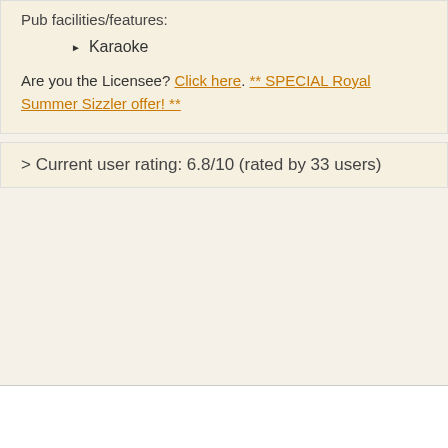Pub facilities/features:
Karaoke
Are you the Licensee? Click here. ** SPECIAL Royal Summer Sizzler offer! **
> Current user rating: 6.8/10 (rated by 33 users)